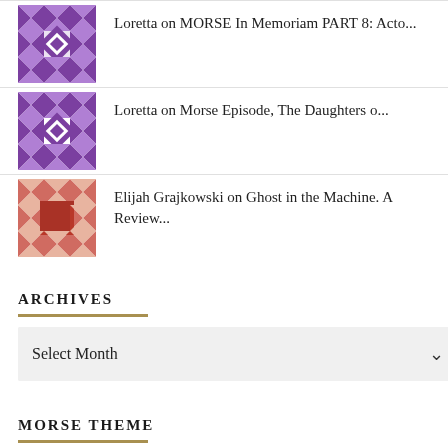Loretta on MORSE In Memoriam PART 8: Acto...
Loretta on Morse Episode, The Daughters o...
Elijah Grajkowski on Ghost in the Machine. A Review...
ARCHIVES
Select Month
MORSE THEME
[Figure (other): Audio player with play button, time 00:00, progress bar, and end time 00:00 with Morse icon]